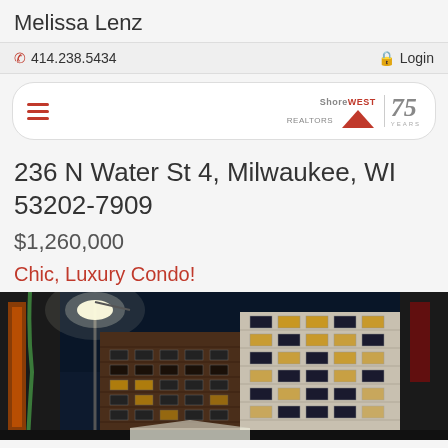Melissa Lenz
📞 414.238.5434   🔒 Login
[Figure (logo): ShoreWest Realty 75 Years logo with hamburger menu navigation bar]
236 N Water St 4, Milwaukee, WI 53202-7909
$1,260,000
Chic, Luxury Condo!
[Figure (photo): Night photo of brick commercial/residential building in Milwaukee, illuminated street lamp on left side, dark blue night sky background]